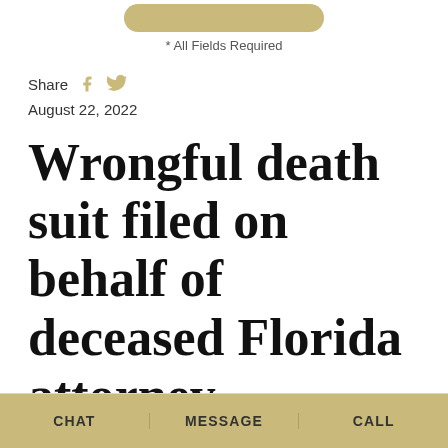* All Fields Required
Share
August 22, 2022
Wrongful death suit filed on behalf of deceased Florida attorney
CHAT   MESSAGE   CALL